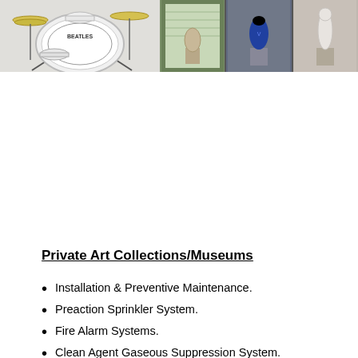[Figure (photo): Two photographs side by side: left shows a Beatles drum kit with the band logo on the bass drum head; right shows a collage of three images of art objects displayed in a gallery or museum setting with sculptures and ceramics on pedestals.]
Private Art Collections/Museums
Installation & Preventive Maintenance.
Preaction Sprinkler System.
Fire Alarm Systems.
Clean Agent Gaseous Suppression System.
Fire Extinguishers.